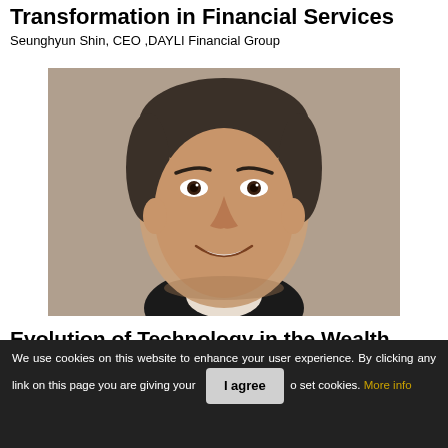Transformation in Financial Services
Seunghyun Shin, CEO ,DAYLI Financial Group
[Figure (photo): Headshot portrait of a smiling man with dark hair against a tan/beige background, wearing a dark suit and white shirt.]
Evolution of Technology in the Wealth
We use cookies on this website to enhance your user experience. By clicking any link on this page you are giving your [I agree] o set cookies. More info